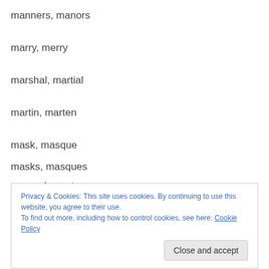manners, manors
marry, merry
marshal, martial
martin, marten
mask, masque
masks, masques
massed, mast
Privacy & Cookies: This site uses cookies. By continuing to use this website, you agree to their use.
To find out more, including how to control cookies, see here: Cookie Policy
Close and accept